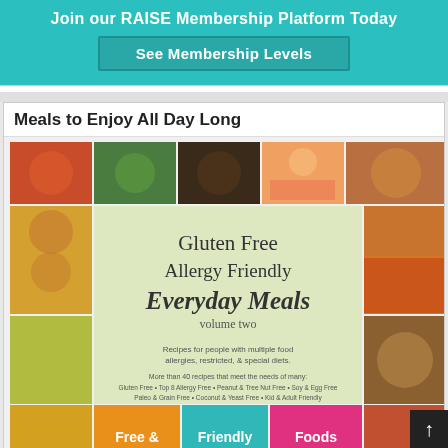Join our RAISE Membership Platform Today
See Membership Levels
Meals to Enjoy All Day Long
[Figure (photo): Book cover for 'Gluten Free Allergy Friendly Everyday Meals volume two' surrounded by food photos. Subtitle: Recipes for people with multiple food allergies, restricted, & special diets. More than 40 recipes that meet the needs of many: Gluten Free • Top 8 Allergy Free • Peanut & Tree Nut Free • Soy & Egg Free Paleo & Grain Free • Coconut & Yeast Free • Kid & Adult Friendly. Bottom strip shows Free & Friendly Foods branding.]